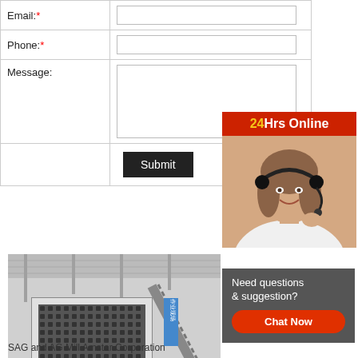| Email:* |  |
| Phone:* |  |
| Message: |  |
|  | Submit |
[Figure (infographic): 24Hrs Online customer service representative with headset, red banner header with yellow '24' text]
[Figure (photo): Industrial SAG and AG Mill machine in factory setting, black and white photo with email overlay: Email:lmzgvip@gmail.com]
Need questions & suggestion?
Chat Now
SAG and AG Mill Amstar Corporation